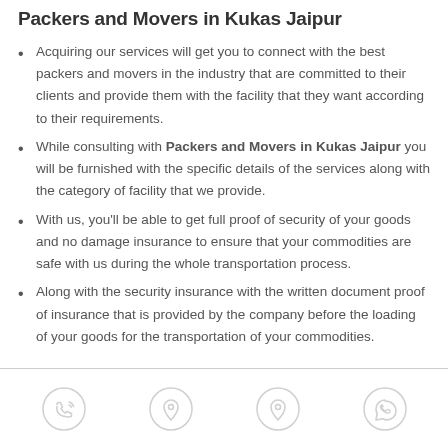Packers and Movers in Kukas Jaipur
Acquiring our services will get you to connect with the best packers and movers in the industry that are committed to their clients and provide them with the facility that they want according to their requirements.
While consulting with Packers and Movers in Kukas Jaipur you will be furnished with the specific details of the services along with the category of facility that we provide.
With us, you'll be able to get full proof of security of your goods and no damage insurance to ensure that your commodities are safe with us during the whole transportation process.
Along with the security insurance with the written document proof of insurance that is provided by the company before the loading of your goods for the transportation of your commodities.
[Figure (infographic): Footer bar with four icons: phone/call icon, location pin icon, location pin icon, WhatsApp icon]